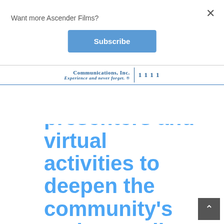Want more Ascender Films?
×
Subscribe
[Figure (logo): Communications Inc. logo with tagline 'Experience and never forget.' and partial text to the right]
aynamic presenters and virtual activities to deepen the community's understanding and advocacy for why